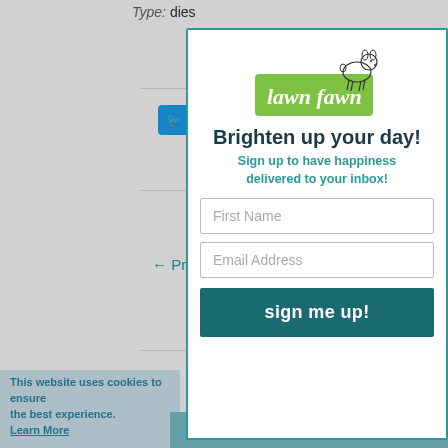Type: dies
[Figure (screenshot): Tweet button (Twitter/X blue button with bird icon and 'Tweet' text)]
← Previous
This website uses cookies to ensure the best experience. Learn More
NEW
[Figure (logo): Lawn Fawn logo — green rectangle with cursive 'lawn fawn' text and a small fawn/deer illustration above]
Brighten up your day!
Sign up to have happiness delivered to your inbox!
First Name
Email Address
sign me up!